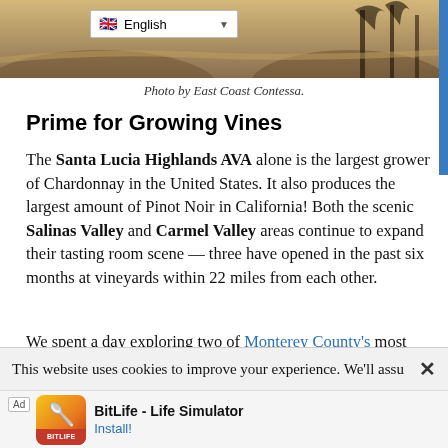[Figure (photo): Aerial/landscape photo of a valley with trees, partially visible at top of page]
Photo by East Coast Contessa.
Prime for Growing Vines
The Santa Lucia Highlands AVA alone is the largest grower of Chardonnay in the United States. It also produces the largest amount of Pinot Noir in California! Both the scenic Salinas Valley and Carmel Valley areas continue to expand their tasting room scene — three have opened in the past six months at vineyards within 22 miles from each other.
We spent a day exploring two of Monterey County's most unique wineries: Chalone Vineyard and Joyce Wine Company.
This website uses cookies to improve your experience. We'll assu
[Figure (screenshot): Advertisement banner for BitLife - Life Simulator app with install button]